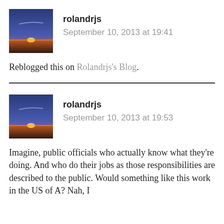[Figure (photo): Avatar photo of rolandrjs showing a sunset over water with blue sky and orange horizon]
rolandrjs
September 10, 2013 at 19:41
Reblogged this on Rolandrjs's Blog.
[Figure (photo): Avatar photo of rolandrjs showing a sunset over water with blue sky and orange horizon]
rolandrjs
September 10, 2013 at 19:53
Imagine, public officials who actually know what they’re doing. And who do their jobs as those responsibilities are described to the public. Would something like this work in the US of A? Nah, I